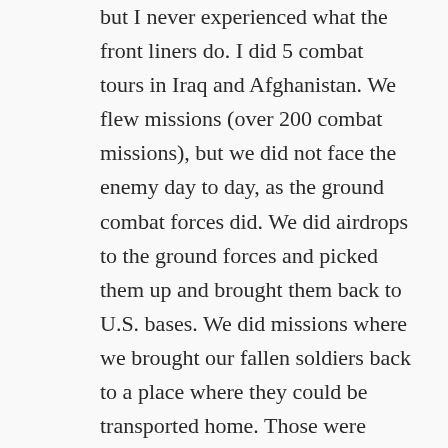but I never experienced what the front liners do. I did 5 combat tours in Iraq and Afghanistan. We flew missions (over 200 combat missions), but we did not face the enemy day to day, as the ground combat forces did. We did airdrops to the ground forces and picked them up and brought them back to U.S. bases. We did missions where we brought our fallen soldiers back to a place where they could be transported home. Those were some of the most difficult missions I flew. When I retired, I flew for a major airline and we had some flights where we took some heros home, after they returned to the U.S. That was an honor, but also very difficult. I wish that everyone in America could understand the sacrifice that our soldiers